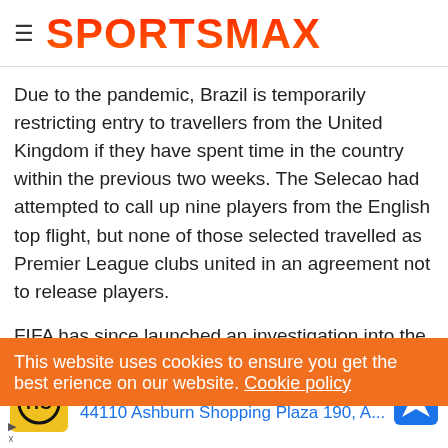SPORTSMAX
Due to the pandemic, Brazil is temporarily restricting entry to travellers from the United Kingdom if they have spent time in the country within the previous two weeks. The Selecao had attempted to call up nine players from the English top flight, but none of those selected travelled as Premier League clubs united in an agreement not to release players.
FIFA has since launched an investigation into the match's interruption, with disciplinary cases opened against the national
This website uses cookies to ensure you get the best experience on our website. Cookie policy
Ashburn  OPEN  8AM–8PM
44110 Ashburn Shopping Plaza 190, A...